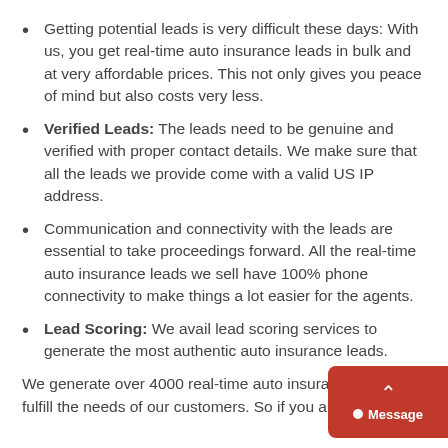Getting potential leads is very difficult these days: With us, you get real-time auto insurance leads in bulk and at very affordable prices. This not only gives you peace of mind but also costs very less.
Verified Leads: The leads need to be genuine and verified with proper contact details. We make sure that all the leads we provide come with a valid US IP address.
Communication and connectivity with the leads are essential to take proceedings forward. All the real-time auto insurance leads we sell have 100% phone connectivity to make things a lot easier for the agents.
Lead Scoring: We avail lead scoring services to generate the most authentic auto insurance leads.
We generate over 4000 real-time auto insurance leads and fulfill the needs of our customers. So if you are an